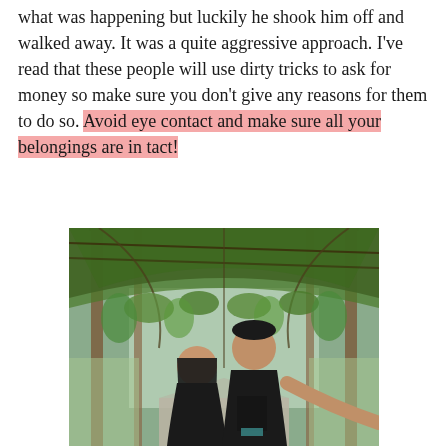what was happening but luckily he shook him off and walked away. It was a quite aggressive approach. I've read that these people will use dirty tricks to ask for money so make sure you don't give any reasons for them to do so. Avoid eye contact and make sure all your belongings are in tact!
[Figure (photo): Two people taking a selfie under a green vine-covered pergola/tunnel archway in a garden or park. The man on the right is wearing a black t-shirt and the woman on the left is also in black. The pergola has wooden arched beams covered with hanging green plants.]